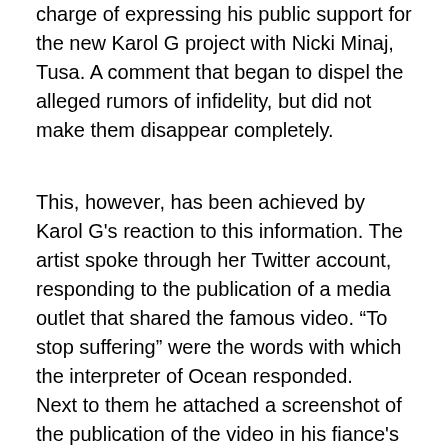charge of expressing his public support for the new Karol G project with Nicki Minaj, Tusa. A comment that began to dispel the alleged rumors of infidelity, but did not make them disappear completely.
This, however, has been achieved by Karol G's reaction to this information. The artist spoke through her Twitter account, responding to the publication of a media outlet that shared the famous video. “To stop suffering” were the words with which the interpreter of Ocean responded. Next to them he attached a screenshot of the publication of the video in his fiance's account, which dates from August 12, 2018. Come on, that when the singer shared it, he had not yet begun his relationship with Karol. A love story that came to light in November 2018 with the publication of a video in which both interpreted their first live collaboration and merged into a beautiful kiss.